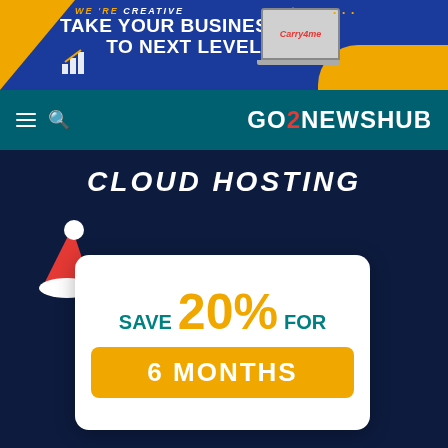[Figure (illustration): Banner advertisement: blue and orange background with text 'WE'RE CREATIVE TAKE YOUR BUSINESS TO NEXT LEVEL' and Carry4me branding with laptop and businessman image]
GO2NEWSHUB
[Figure (illustration): Dark navy background image showing CLOUD HOSTING text with promotional card: SAVE 20% FOR 6 MONTHS, with Santa hat decoration]